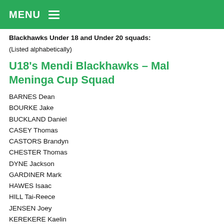MENU
Blackhawks Under 18 and Under 20 squads:
(Listed alphabetically)
U18's Mendi Blackhawks – Mal Meninga Cup Squad
BARNES Dean
BOURKE Jake
BUCKLAND Daniel
CASEY Thomas
CASTORS Brandyn
CHESTER Thomas
DYNE Jackson
GARDINER Mark
HAWES Isaac
HILL Tai-Reece
JENSEN Joey
KEREKERE Kaelin